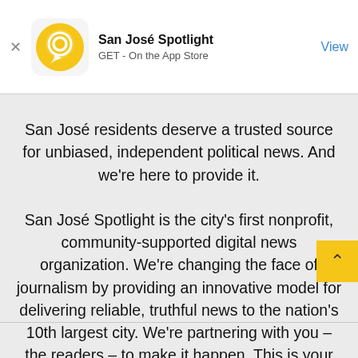San José Spotlight GET - On the App Store View
San José residents deserve a trusted source for unbiased, independent political news. And we're here to provide it.
San José Spotlight is the city's first nonprofit, community-supported digital news organization. We're changing the face of journalism by providing an innovative model for delivering reliable, truthful news to the nation's 10th largest city. We're partnering with you – the readers – to make it happen. This is your newsroom.